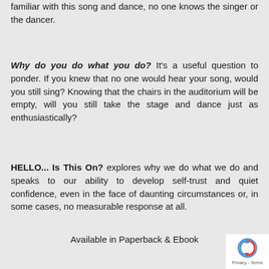familiar with this song and dance, no one knows the singer or the dancer.
Why do you do what you do? It's a useful question to ponder. If you knew that no one would hear your song, would you still sing? Knowing that the chairs in the auditorium will be empty, will you still take the stage and dance just as enthusiastically?
HELLO... Is This On? explores why we do what we do and speaks to our ability to develop self-trust and quiet confidence, even in the face of daunting circumstances or, in some cases, no measurable response at all.
Available in Paperback & Ebook
[Figure (logo): reCAPTCHA badge with blue/red arrow icon and Privacy - Terms text]